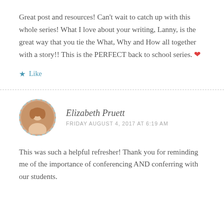Great post and resources! Can’t wait to catch up with this whole series! What I love about your writing, Lanny, is the great way that you tie the What, Why and How all together with a story!! This is the PERFECT back to school series. ❤
★ Like
Elizabeth Pruett
FRIDAY AUGUST 4, 2017 AT 6:19 AM
This was such a helpful refresher! Thank you for reminding me of the importance of conferencing AND conferring with our students.